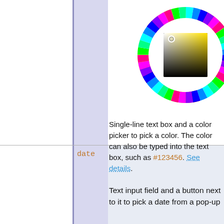[Figure (other): Color wheel picker widget showing a hue ring and inner saturation/brightness square with a selection marker]
Single-line text box and a color picker to pick a color. The color can also be typed into the text box, such as #123456. See details.
date
[Figure (screenshot): Calendar date picker widget showing December 2012 with date 2012-12-10 in input field, current selection on row with 10 highlighted in yellow, week 51 row (17-23) with some cells highlighted in blue]
Text input field and a button next to it to pick a date from a pop-up